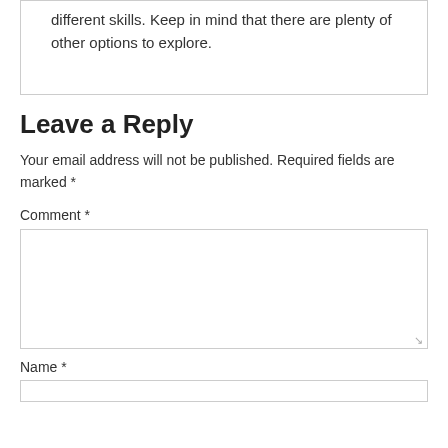different skills. Keep in mind that there are plenty of other options to explore.
Leave a Reply
Your email address will not be published. Required fields are marked *
Comment *
Name *